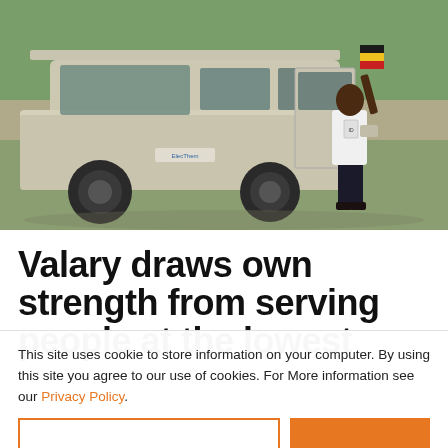[Figure (photo): A muddy white 4WD SUV/Land Cruiser with open rear door, a person in white shirt and black trousers holding a Ugandan flag stepping out, green field in background.]
Valary draws own strength from serving people at the lowest
This site uses cookie to store information on your computer. By using this site you agree to our use of cookies. For More information see our Privacy Policy.